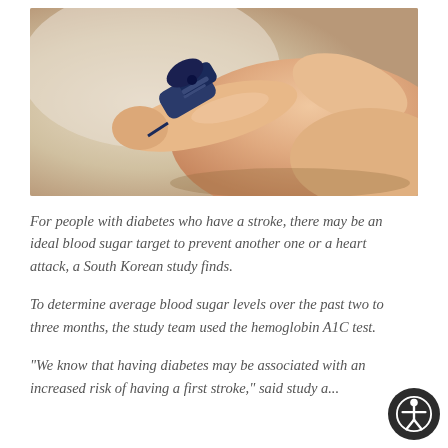[Figure (photo): Close-up photo of a hand holding a blue blood glucose meter/lancet device, pressing it against a fingertip to test blood sugar levels. The background is blurred in warm beige/tan tones.]
For people with diabetes who have a stroke, there may be an ideal blood sugar target to prevent another one or a heart attack, a South Korean study finds.
To determine average blood sugar levels over the past two to three months, the study team used the hemoglobin A1C test.
"We know that having diabetes may be associated with an increased risk of having a first stroke," said study a...